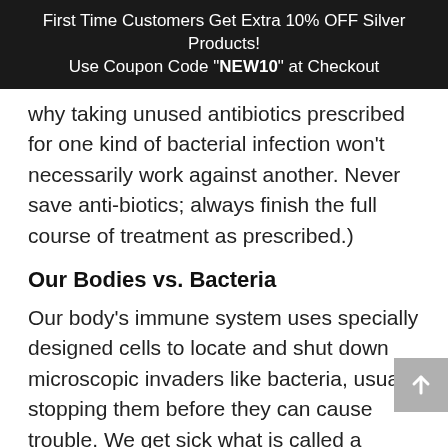First Time Customers Get Extra 10% OFF Silver Products! Use Coupon Code "NEW10" at Checkout
why taking unused antibiotics prescribed for one kind of bacterial infection won't necessarily work against another. Never save anti-biotics; always finish the full course of treatment as prescribed.)
Our Bodies vs. Bacteria
Our body's immune system uses specially designed cells to locate and shut down microscopic invaders like bacteria, usually stopping them before they can cause trouble. We get sick what is called a bacterial infection. when bacteria in our body reproduce faster than our immune system can kill them.
Bacterial Resistance